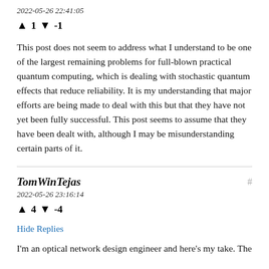2022-05-26 22:41:05
▲ 1 ▼ -1
This post does not seem to address what I understand to be one of the largest remaining problems for full-blown practical quantum computing, which is dealing with stochastic quantum effects that reduce reliability. It is my understanding that major efforts are being made to deal with this but that they have not yet been fully successful. This post seems to assume that they have been dealt with, although I may be misunderstanding certain parts of it.
TomWinTejas
2022-05-26 23:16:14
▲ 4 ▼ -4
Hide Replies
I'm an optical network design engineer and here's my take. The